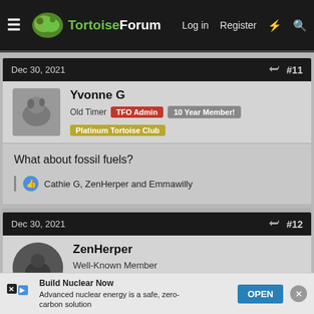TortoiseForum — Log in  Register
Dec 30, 2021  #11
Yvonne G
Old Timer  TFO Admin  10 Year Member!
Platinum Tortoise Club
What about fossil fuels?
Cathie G, ZenHerper and Emmawilly
Dec 30, 2021  #12
ZenHerper
Well-Known Member
It's not
Build Nuclear Now
Advanced nuclear energy is a safe, zero-carbon solution